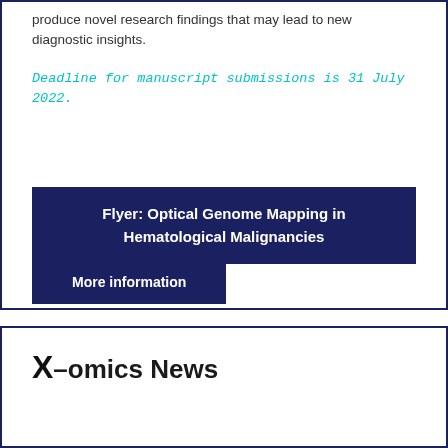produce novel research findings that may lead to new diagnostic insights.
Deadline for manuscript submissions is 31 July 2022.
Flyer: Optical Genome Mapping in Hematological Malignancies
More information
X-omics News